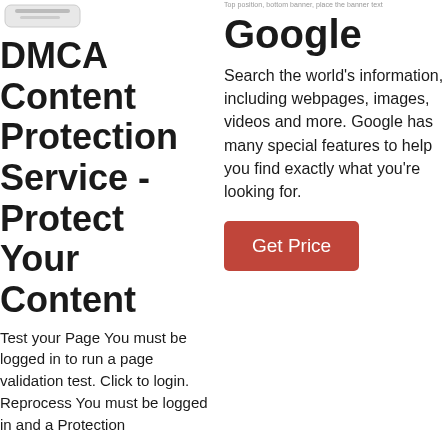[Figure (logo): DMCA Content Protection Service logo image (white/grey shape)]
DMCA Content Protection Service - Protect Your Content
Test your Page You must be logged in to run a page validation test. Click to login. Reprocess You must be logged in and a Protection
Top position, bottom banner, place the banner text
Google
Search the world's information, including webpages, images, videos and more. Google has many special features to help you find exactly what you're looking for.
Get Price